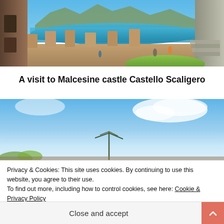[Figure (photo): Aerial/elevated view of Malcesine castle walls with Lake Garda and mountains in the background, people walking on castle grounds with green grass and stone battlements]
A visit to Malcesine castle Castello Scaligero
[Figure (photo): Blue sky with white clouds and a tree/antenna in the foreground, bottom of the Malcesine castle photo]
Privacy & Cookies: This site uses cookies. By continuing to use this website, you agree to their use.
To find out more, including how to control cookies, see here: Cookie & Privacy Policy
Close and accept